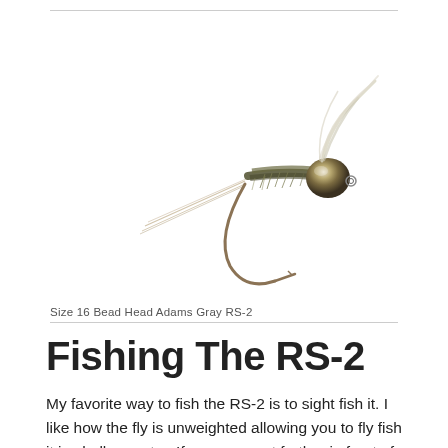[Figure (photo): Close-up photograph of a Size 16 Bead Head Adams Gray RS-2 fly fishing lure on a white background. The fly features a gold hook, olive/green dubbing body, a metallic bead head, and light-colored wing material extending upward.]
Size 16 Bead Head Adams Gray RS-2
Fishing The RS-2
My favorite way to fish the RS-2 is to sight fish it. I like how the fly is unweighted allowing you to fly fish it in shallow water. If you can cast farther in front of the fish